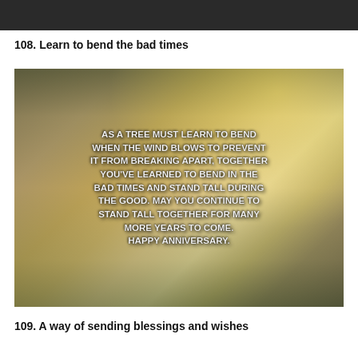[Figure (photo): Dark image partially visible at top of page (cropped)]
108. Learn to bend the bad times
[Figure (photo): Outdoor nature photo showing a person standing near a lake with trees, overlaid with bold white text: AS A TREE MUST LEARN TO BEND WHEN THE WIND BLOWS TO PREVENT IT FROM BREAKING APART, TOGETHER YOU'VE LEARNED TO BEND IN THE BAD TIMES AND STAND TALL DURING THE GOOD. MAY YOU CONTINUE TO STAND TALL TOGETHER FOR MANY MORE YEARS TO COME. HAPPY ANNIVERSARY.]
109. A way of sending blessings and wishes